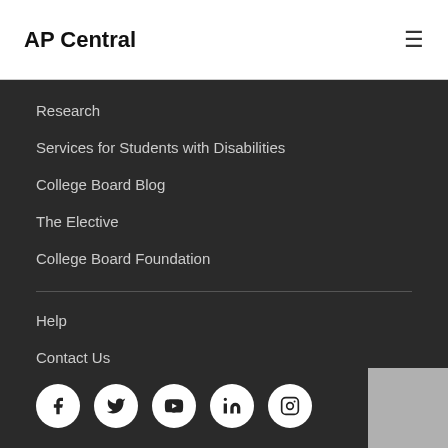AP Central
Research
Services for Students with Disabilities
College Board Blog
The Elective
College Board Foundation
Help
Contact Us
[Figure (other): Social media icons row: Facebook, Twitter, YouTube, LinkedIn, Instagram]
Doing Business
Compliance
Legal Terms for Students